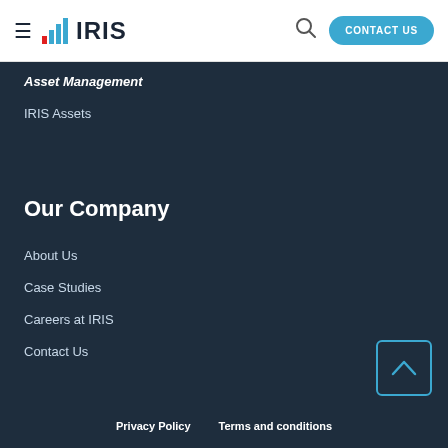IRIS — CONTACT US
Asset Management
IRIS Assets
Our Company
About Us
Case Studies
Careers at IRIS
Contact Us
Privacy Policy   Terms and conditions